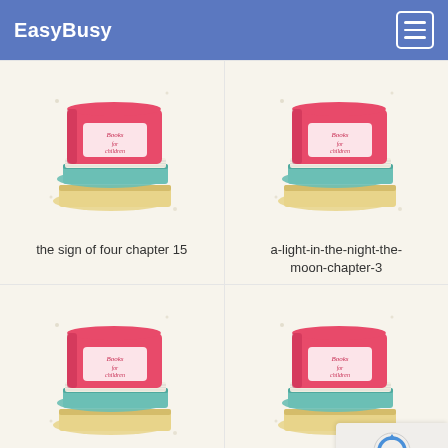EasyBusy
[Figure (illustration): Stack of books illustration with red top book labeled 'books for children']
the sign of four chapter 15
[Figure (illustration): Stack of books illustration with red top book labeled 'books for children']
a-light-in-the-night-the-moon-chapter-3
[Figure (illustration): Stack of books illustration with red top book labeled 'books for children']
northanger-abbey-chapter-8
[Figure (illustration): Stack of books illustration with red top book labeled 'books for children']
incredible earth chapter 1